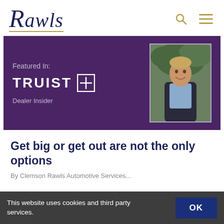Rawls
[Figure (screenshot): Purple banner featuring 'Featured In: TRUIST Dealer Insider' on the left and a photo of a smiling man in a dark jacket on the right]
Get big or get out are not the only options
By Clemson Rawls Automotive Services...
This website uses cookies and third party services.